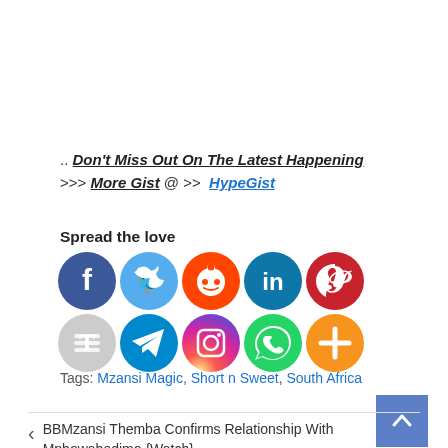.. Don't Miss Out On The Latest Happening >>> More Gist @ >> HypeGist
Spread the love
[Figure (infographic): Social media sharing icons: Facebook, Twitter, Reddit, LinkedIn, Pinterest, Buffer, Telegram, Instagram, WhatsApp, More (plus icon)]
Tags: Mzansi Magic, Short n Sweet, South Africa
BBMzansi Themba Confirms Relationship With Mphowabadimo {Watch}